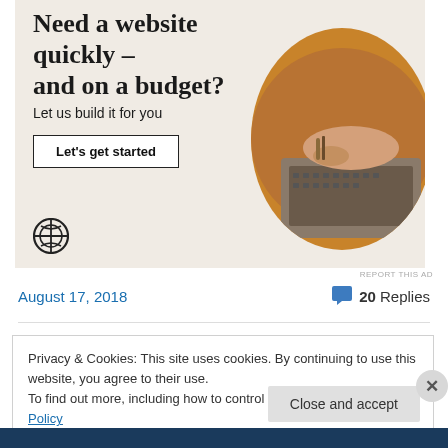[Figure (infographic): WordPress advertisement banner with beige background. Headline: 'Need a website quickly – and on a budget?', subtext: 'Let us build it for you', button: 'Let's get started', circular photo of hands on laptop, WordPress logo.]
REPORT THIS AD
August 17, 2018
20 Replies
Privacy & Cookies: This site uses cookies. By continuing to use this website, you agree to their use.
To find out more, including how to control cookies, see here: Cookie Policy
Close and accept